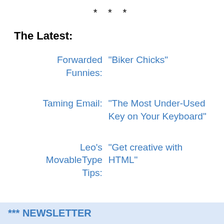* * *
The Latest:
| Forwarded Funnies: | "Biker Chicks" |
| Taming Email: | "The Most Under-Used Key on Your Keyboard" |
| Leo's MovableType Tips: | "Get creative with HTML" |
*** NEWSLETTER